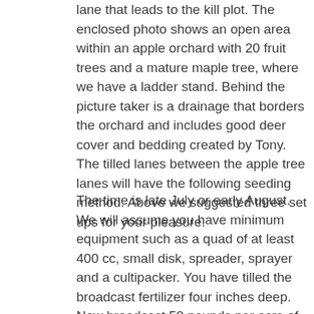lane that leads to the kill plot. The enclosed photo shows an open area within an apple orchard with 20 fruit trees and a mature maple tree, where we have a ladder stand. Behind the picture taker is a drainage that borders the orchard and includes good deer cover and bedding created by Tony. The tilled lanes between the apple tree lanes will have the following seeding method. Above we suggested three set ups for your pleasure.
The time is late July or early August. We will assume you have minimum equipment such as a quad of at least 400 cc, small disk, spreader, sprayer and a cultipacker. You have tilled the broadcast fertilizer four inches deep. Now broadcast 50 pounds per acre of soybeans. Till the soys at least twice crosswise if using a disk, once slow if you have a rototiller three inches deep. Now we will create the cover that gives deer that feeling of security to move about during daylight. You will mix no more than three pounds of forage sorghum